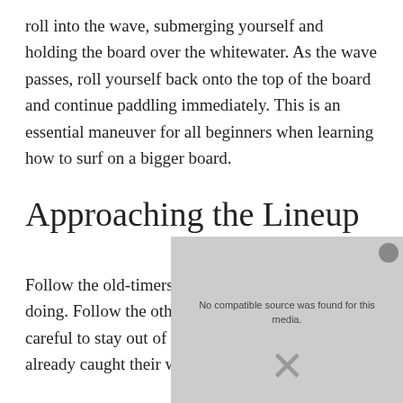roll into the wave, submerging yourself and holding the board over the whitewater. As the wave passes, roll yourself back onto the top of the board and continue paddling immediately. This is an essential maneuver for all beginners when learning how to surf on a bigger board.
Approaching the Lineup
Follow the old-timers, they know what they are doing. Follow the others out and around the wave, careful to stay out of the way of surfers who have already caught their wave. You don't want another
[Figure (screenshot): Video player overlay with gray background showing 'No compatible source was found for this media.' message and an X close button.]